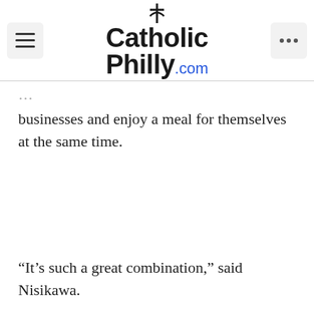CatholicPhilly.com
businesses and enjoy a meal for themselves at the same time.
“It’s such a great combination,” said Nisikawa.